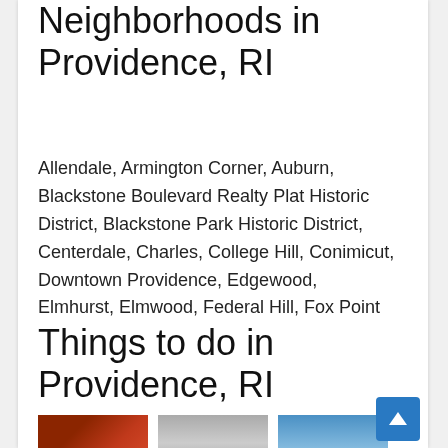Neighborhoods in Providence, RI
Allendale, Armington Corner, Auburn, Blackstone Boulevard Realty Plat Historic District, Blackstone Park Historic District, Centerdale, Charles, College Hill, Conimicut, Downtown Providence, Edgewood, Elmhurst, Elmwood, Federal Hill, Fox Point
Things to do in Providence, RI
[Figure (photo): Three small thumbnail photos of Providence, RI: a reddish interior scene, a gray outdoor/cityscape, and a blue-toned building exterior]